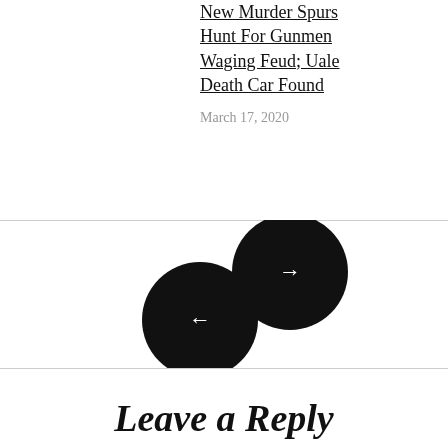New Murder Spurs Hunt For Gunmen Waging Feud; Uale Death Car Found
March 17, 2020
[Figure (illustration): Two black circular navigation buttons with arrows: a right-arrow button (next) in the upper right, and a left-arrow button (previous) in the lower left, overlapping slightly.]
Leave a Reply
Your email address will not be published. Required fields